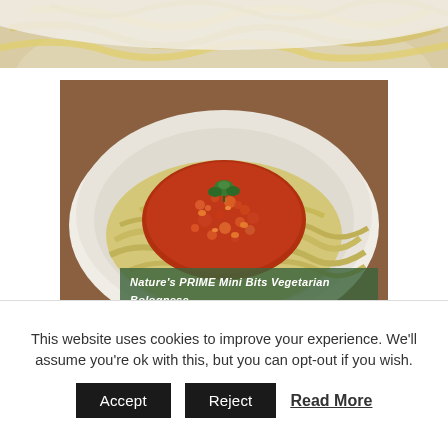[Figure (photo): Top portion of a plate of pasta (egg noodles/fettuccine) on a white plate, cropped at the top of the page]
[Figure (photo): A white bowl containing egg noodles/fettuccine pasta topped with a chunky tomato-based vegetarian bolognese sauce with lentils and carrots, garnished with a parsley leaf. Caption text reads: Nature's PRIME Mini Bits Vegetarian Bolognese]
Nature's PRIME Mini Bits Vegetarian Bolognese
This website uses cookies to improve your experience. We'll assume you're ok with this, but you can opt-out if you wish.
Accept | Reject | Read More